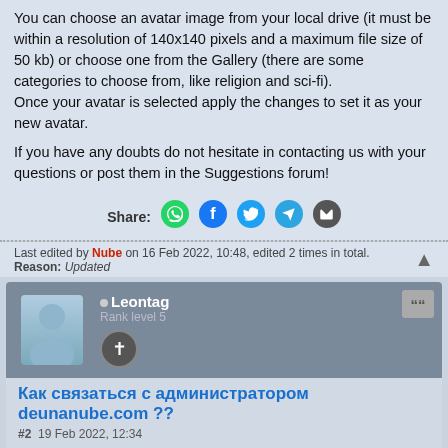You can choose an avatar image from your local drive (it must be within a resolution of 140x140 pixels and a maximum file size of 50 kb) or choose one from the Gallery (there are some categories to choose from, like religion and sci-fi).
Once your avatar is selected apply the changes to set it as your new avatar.
If you have any doubts do not hesitate in contacting us with your questions or post them in the Suggestions forum!
Share: [WhatsApp] [Facebook] [Twitter] [Telegram] [Email]
Last edited by Nube on 16 Feb 2022, 10:48, edited 2 times in total.
Reason: Updated
Как связаться с администратором deunanube.com ??
#2  19 Feb 2022, 12:34
Могу я связаться с админом ??
Речь идет о рекламе на вашем сайте.
С уважением.